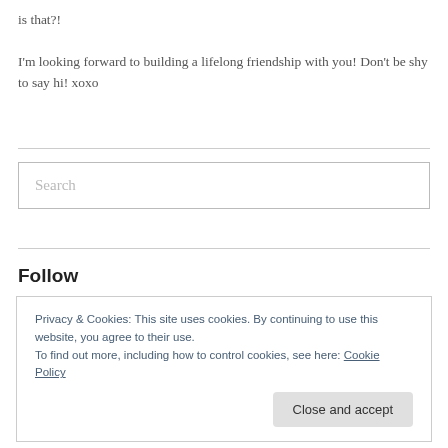is that?!
I'm looking forward to building a lifelong friendship with you! Don't be shy to say hi! xoxo
[Figure (other): Search input box with placeholder text 'Search']
Follow
[Figure (other): Five circular social media icon buttons in light teal/blue color]
Privacy & Cookies: This site uses cookies. By continuing to use this website, you agree to their use.
To find out more, including how to control cookies, see here: Cookie Policy
Close and accept